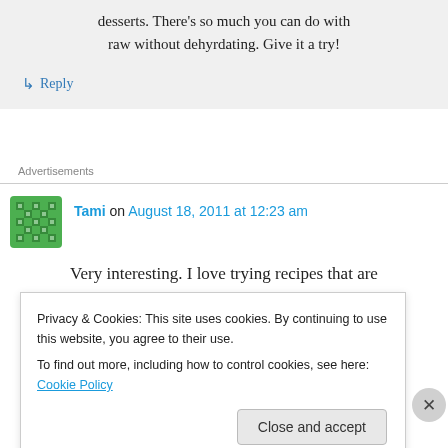desserts. There's so much you can do with raw without dehyrdating. Give it a try!
↳ Reply
Advertisements
Tami on August 18, 2011 at 12:23 am
Very interesting. I love trying recipes that are
Privacy & Cookies: This site uses cookies. By continuing to use this website, you agree to their use.
To find out more, including how to control cookies, see here: Cookie Policy
Close and accept